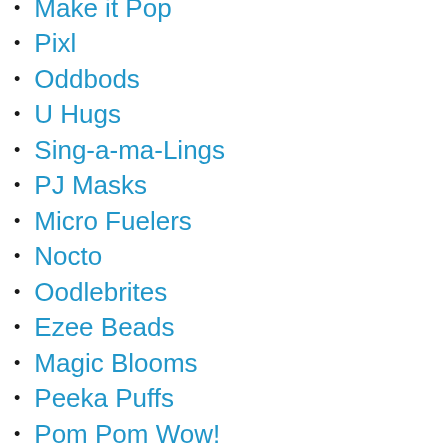Make it Pop
Pixl
Oddbods
U Hugs
Sing-a-ma-Lings
PJ Masks
Micro Fuelers
Nocto
Oodlebrites
Ezee Beads
Magic Blooms
Peeka Puffs
Pom Pom Wow!
Charm U
Grossery Gang